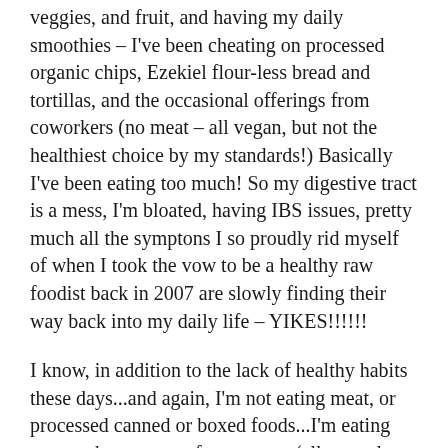veggies, and fruit, and having my daily smoothies – I've been cheating on processed organic chips, Ezekiel flour-less bread and tortillas, and the occasional offerings from coworkers (no meat – all vegan, but not the healthiest choice by my standards!) Basically I've been eating too much! So my digestive tract is a mess, I'm bloated, having IBS issues, pretty much all the symptons I so proudly rid myself of when I took the vow to be a healthy raw foodist back in 2007 are slowly finding their way back into my daily life – YIKES!!!!!!
I know, in addition to the lack of healthy habits these days...and again, I'm not eating meat, or processed canned or boxed foods...I'm eating too much, too many fats, sugars, (all natural or not), and eating too late! No exercise, no sleep, excessive stress – yes, lots of stress!